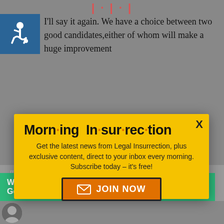[Figure (screenshot): Screenshot of a webpage with a modal popup overlay. Background shows a disability icon, article text, and a Fiverr advertisement banner. The modal is a yellow newsletter signup box for Morning Insurrection.]
I'll say it again. We have a choice between two good candidates, either of whom will make a huge improvement
Morn·ing In·sur·rec·tion
Get the latest news from Legal Insurrection, plus exclusive content, direct to your inbox every morning. Subscribe today – it's free!
JOIN NOW
more important than beating elites. Or are delusional enough to think that
Working from home?
Get your projects done on fiverr